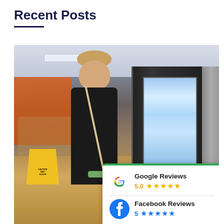Recent Posts
[Figure (photo): A female cleaning worker in black uniform mopping a cafeteria floor next to a yellow wet floor warning sign, with a vending machine in the background. A review overlay card in the bottom-right shows Google Reviews 5.0 (five stars) and Facebook Reviews 5 (five stars).]